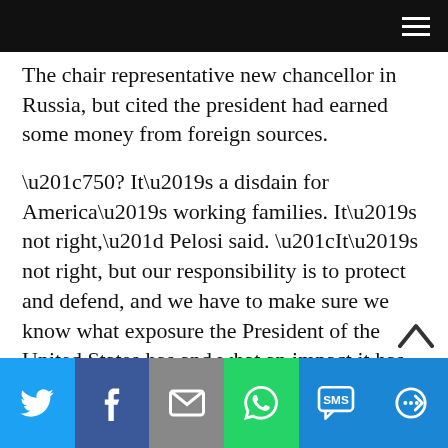[navigation bar with hamburger menu]
The chair representative new chancellor in Russia, but cited the president had earned some money from foreign sources.
“750? It’s a disdain for America’s working families. It’s not right,” Pelosi said. “It’s not right, but our responsibility is to protect and defend, and we have to make sure we know what exposure the President of the United States has and what an impact it has on national security decisions for our country.”
Trump called the report “totally fake news” following the release during a press briefing on
[Share bar: Twitter, Facebook, Email, WhatsApp, SMS, More]